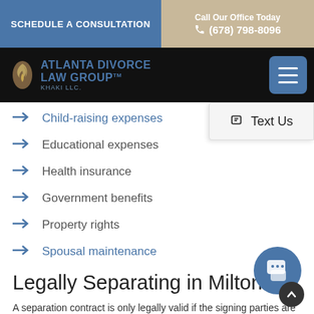SCHEDULE A CONSULTATION
Call Our Office Today (678) 798-8096
[Figure (logo): Atlanta Divorce Law Group - Khaki LLC logo with flame icon on black navigation bar]
Child-raising expenses
Educational expenses
Health insurance
Government benefits
Property rights
Spousal maintenance
Legally Separating in Milton
A separation contract is only legally valid if the signing parties are in total agreement on all their marital issues...